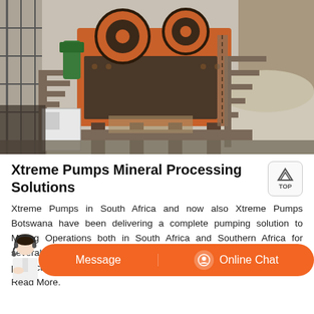[Figure (photo): Industrial mining crusher/jaw crusher machine with orange metalwork, conveyor systems, metal staircases, and piles of crushed stone/aggregate material in an outdoor mining facility.]
Xtreme Pumps Mineral Processing Solutions
Xtreme Pumps in South Africa and now also Xtreme Pumps Botswana have been delivering a complete pumping solution to Mining Operations both in South Africa and Southern Africa for several years. As an OEM supplier our clients enjoy great quality products and quick and effective service to address their demands. Read More.